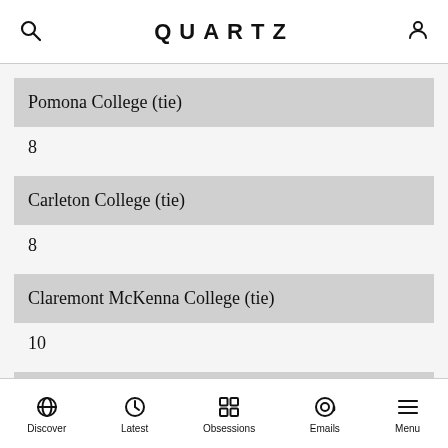QUARTZ
Pomona College (tie)
8
Carleton College (tie)
8
Claremont McKenna College (tie)
10
Davidson College (tie)
10
Discover  Latest  Obsessions  Emails  Menu